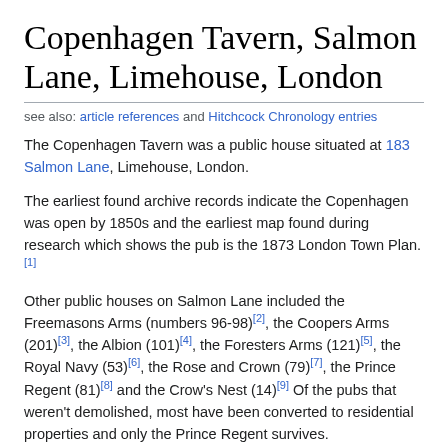Copenhagen Tavern, Salmon Lane, Limehouse, London
see also: article references and Hitchcock Chronology entries
The Copenhagen Tavern was a public house situated at 183 Salmon Lane, Limehouse, London.
The earliest found archive records indicate the Copenhagen was open by 1850s and the earliest map found during research which shows the pub is the 1873 London Town Plan.[1]
Other public houses on Salmon Lane included the Freemasons Arms (numbers 96-98)[2], the Coopers Arms (201)[3], the Albion (101)[4], the Foresters Arms (121)[5], the Royal Navy (53)[6], the Rose and Crown (79)[7], the Prince Regent (81)[8] and the Crow's Nest (14)[9] Of the pubs that weren't demolished, most have been converted to residential properties and only the Prince Regent survives.
In April 1993 the Copenhagen Tavern was...